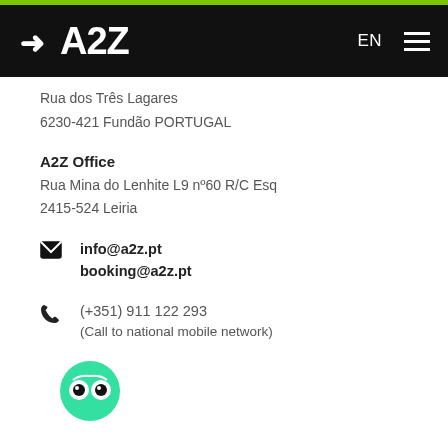[Figure (logo): A2Z company logo with arrow icon on black header bar with EN language selector and hamburger menu]
Rua dos Três Lagares
6230-421 Fundão PORTUGAL
A2Z Office
Rua Mina do Lenhite L9 nº60 R/C Esq
2415-524 Leiria
info@a2z.pt
booking@a2z.pt
(+351) 911 122 293
(Call to national mobile network)
[Figure (logo): TripAdvisor green owl logo icon]